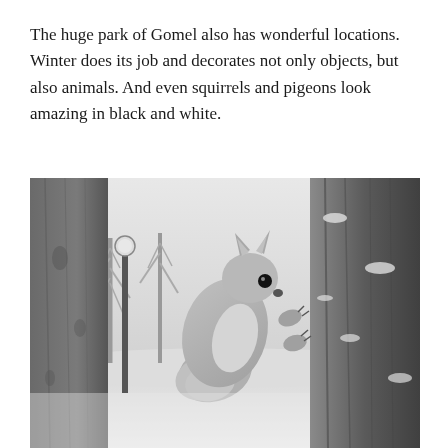The huge park of Gomel also has wonderful locations. Winter does its job and decorates not only objects, but also animals. And even squirrels and pigeons look amazing in black and white.
[Figure (photo): Black and white photograph of a squirrel clinging to the bark of a large tree in a snowy winter park. The squirrel faces the camera with its fluffy tail visible. Bare trees and a lamp post with a round globe are visible in the snowy background.]